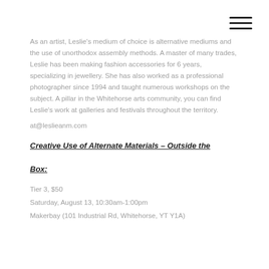[Figure (other): Hamburger menu icon (three horizontal lines) in top right corner]
As an artist, Leslie's medium of choice is alternative mediums and the use of unorthodox assembly methods. A master of many trades, Leslie has been making fashion accessories for 6 years, specializing in jewellery. She has also worked as a professional photographer since 1994 and taught numerous workshops on the subject. A pillar in the Whitehorse arts community, you can find Leslie's work at galleries and festivals throughout the territory.
at@leslieanm.com
Creative Use of Alternate Materials – Outside the Box:
Tier 3, $50
Saturday, August 13, 10:30am-1:00pm
Makerbay (101 Industrial Rd, Whitehorse, YT Y1A)